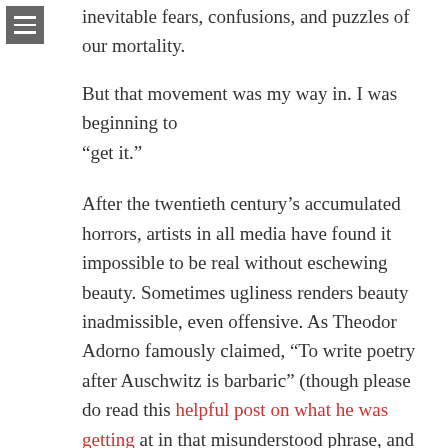inevitable fears, confusions, and puzzles of our mortality.
But that movement was my way in. I was beginning to “get it.”
After the twentieth century’s accumulated horrors, artists in all media have found it impossible to be real without eschewing beauty. Sometimes ugliness renders beauty inadmissible, even offensive. As Theodor Adorno famously claimed, “To write poetry after Auschwitz is barbaric” (though please do read this helpful post on what he was getting at in that misunderstood phrase, and how he later refined the idea).
What we need is art that looks horror in the face. What we yearn for is redemption from that horror. The problem is that our world has despaired of ever finding it. But Christian hope has proven itself resilient in the face of horror again and again. And I suspect the reason